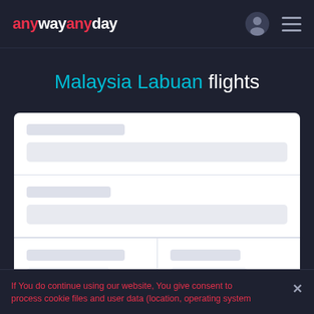anywayanyday
Malaysia Labuan flights
[Figure (screenshot): Flight search form with skeleton loading placeholders showing two full-width input rows and one split two-column row below]
If You do continue using our website, You give consent to process cookie files and user data (location, operating system